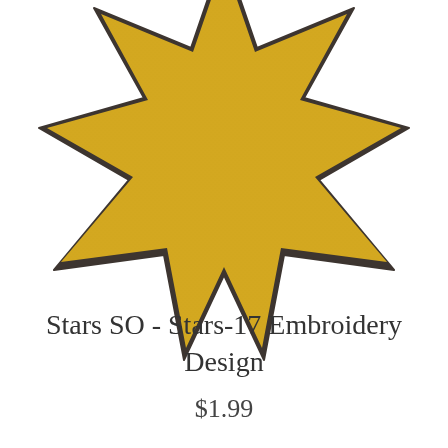[Figure (illustration): A large seven-pointed star shape with a golden yellow fill and dark charcoal outline, cropped at the top and sides, occupying the upper portion of the page. The star has a textured fabric-like appearance suggesting an embroidery design.]
Stars SO - Stars-17 Embroidery Design
$1.99